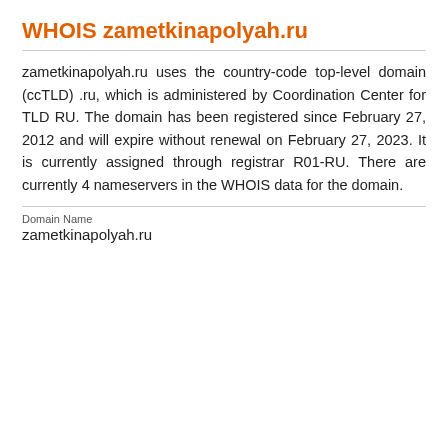WHOIS zametkinapolyah.ru
zametkinapolyah.ru uses the country-code top-level domain (ccTLD) .ru, which is administered by Coordination Center for TLD RU. The domain has been registered since February 27, 2012 and will expire without renewal on February 27, 2023. It is currently assigned through registrar R01-RU. There are currently 4 nameservers in the WHOIS data for the domain.
Domain Name
zametkinapolyah.ru